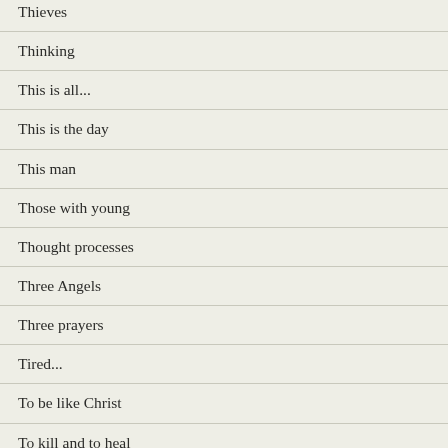Thieves
Thinking
This is all...
This is the day
This man
Those with young
Thought processes
Three Angels
Three prayers
Tired...
To be like Christ
To kill and to heal
Together